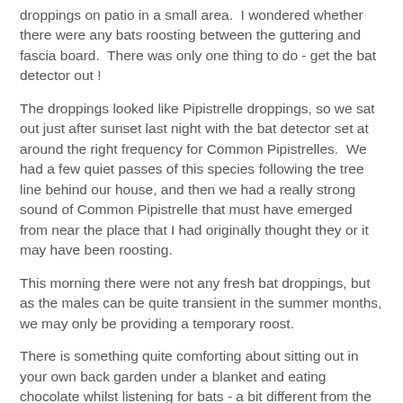droppings on patio in a small area. I wondered whether there were any bats roosting between the guttering and fascia board. There was only one thing to do - get the bat detector out !
The droppings looked like Pipistrelle droppings, so we sat out just after sunset last night with the bat detector set at around the right frequency for Common Pipistrelles. We had a few quiet passes of this species following the tree line behind our house, and then we had a really strong sound of Common Pipistrelle that must have emerged from near the place that I had originally thought they or it may have been roosting.
This morning there were not any fresh bat droppings, but as the males can be quite transient in the summer months, we may only be providing a temporary roost.
There is something quite comforting about sitting out in your own back garden under a blanket and eating chocolate whilst listening for bats - a bit different from the bat surveys I used to do !